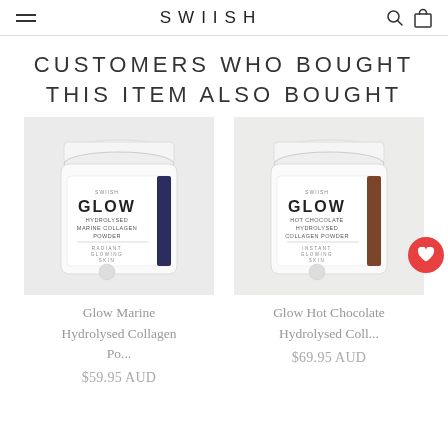SWIISH
CUSTOMERS WHO BOUGHT THIS ITEM ALSO BOUGHT
[Figure (photo): White tub of Glow Marine Hydrolysed Collagen Powder with navy label accent]
Glow Marine Hydrolysed Collagen Po...
$59.95 AUD
[Figure (photo): White tub of Glow Hot Chocolate Hydrolysed Collagen Powder with brown label accent]
Glow Hot Chocolate Hydrolysed Coll...
$69.95 AUD